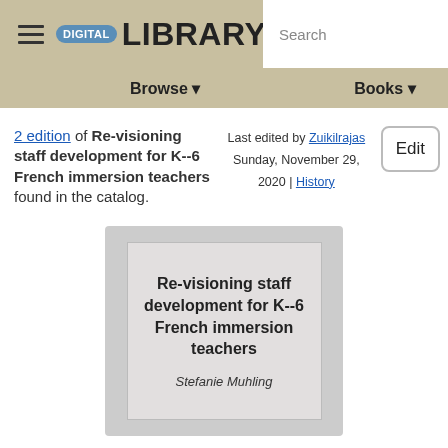DIGITAL LIBRARY | Search | Browse | Books
2 edition of Re-visioning staff development for K--6 French immersion teachers found in the catalog.
Last edited by Zuikilrajas
Sunday, November 29, 2020 | History
Edit
[Figure (illustration): Book cover card showing title 'Re-visioning staff development for K--6 French immersion teachers' and author 'Stefanie Muhling' on a gray background]